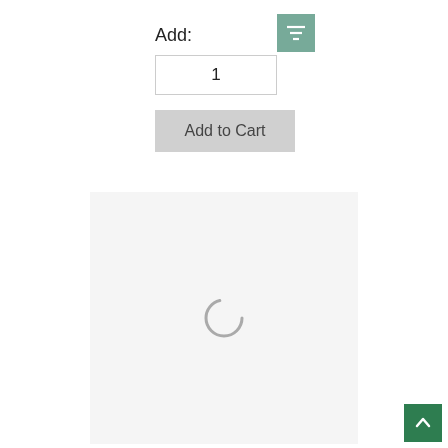Add:
[Figure (screenshot): Green sort/filter icon button with horizontal lines]
[Figure (screenshot): Quantity input field showing value 1]
[Figure (screenshot): Add to Cart button, grey background]
[Figure (screenshot): Loading spinner area with light grey background and circular loading indicator]
[Figure (screenshot): Scroll to top button, dark green with upward arrow]